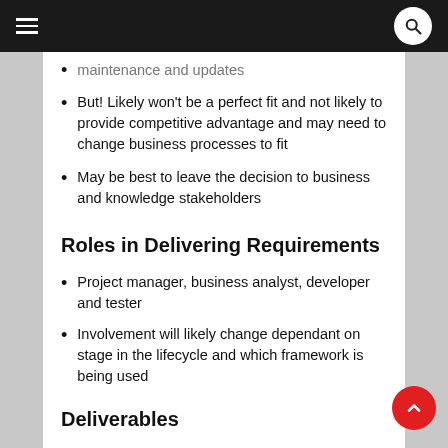Navigation header with hamburger menu and search icon
maintenance and updates (truncated at top)
But! Likely won't be a perfect fit and not likely to provide competitive advantage and may need to change business processes to fit
May be best to leave the decision to business and knowledge stakeholders
Roles in Delivering Requirements
Project manager, business analyst, developer and tester
Involvement will likely change dependant on stage in the lifecycle and which framework is being used
Deliverables